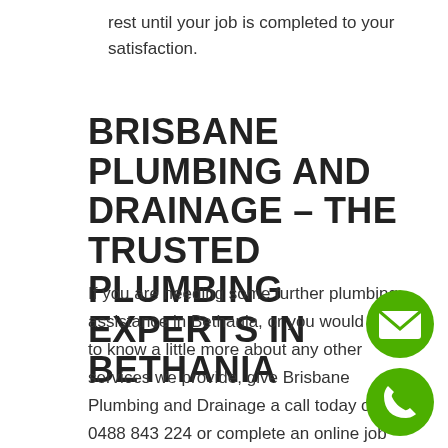rest until your job is completed to your satisfaction.
BRISBANE PLUMBING AND DRAINAGE – THE TRUSTED PLUMBING EXPERTS IN BETHANIA
If you are needing some further plumbing assistance in Bethania, or you would like to know a little more about any other services we provide, give Brisbane Plumbing and Drainage a call today on 0488 843 224 or complete an online job booking form. We are your go-to plumbing specialists all across Bethania, so get in contact now!
[Figure (illustration): Green circle with white envelope/email icon]
[Figure (illustration): Green circle with white phone icon]